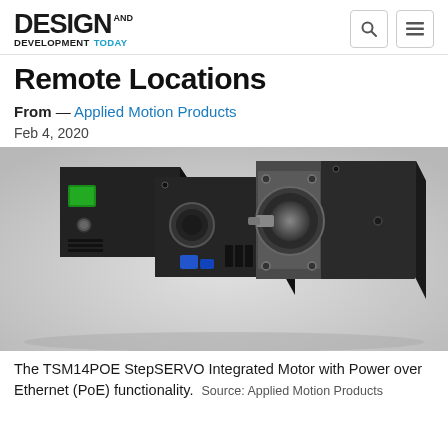DESIGN AND DEVELOPMENT TODAY
Remote Locations
From — Applied Motion Products
Feb 4, 2020
[Figure (photo): Three TSM14POE StepSERVO Integrated Motors with Power over Ethernet (PoE) functionality shown at different angles against a white background. The motors are black rectangular devices with connectors and a motor shaft visible on the front unit.]
The TSM14POE StepSERVO Integrated Motor with Power over Ethernet (PoE) functionality.  Source: Applied Motion Products